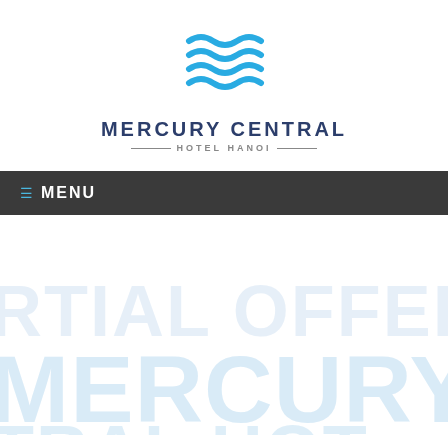[Figure (logo): Mercury Central Hotel Hanoi logo with blue wave graphic above the brand name]
MERCURY CENTRAL
—HOTEL HANOI—
≡ MENU
[Figure (other): Faint watermark text reading partial letters in light blue, background decorative element]